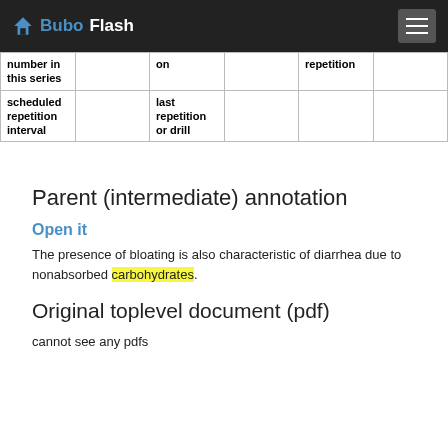BuboFlash
| number in this series |  | on |  | repetition |  |
| scheduled repetition interval |  | last repetition or drill |  |  |  |
Parent (intermediate) annotation
Open it
The presence of bloating is also characteristic of diarrhea due to nonabsorbed carbohydrates.
Original toplevel document (pdf)
cannot see any pdfs